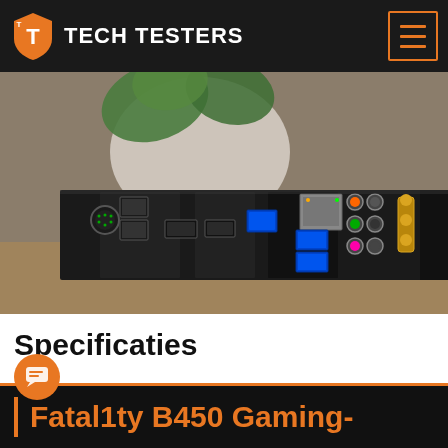TECH TESTERS
[Figure (photo): Close-up photo of a motherboard's rear I/O panel showing USB ports, PS/2 connector, HDMI and DisplayPort outputs, USB 3.0 ports in blue, Ethernet port, audio jacks in multiple colors, and gold-plated Wi-Fi antenna connectors, sitting on a wooden surface with a white plant pot and green leaves in the background.]
Specificaties
Fatal1ty B450 Gaming-